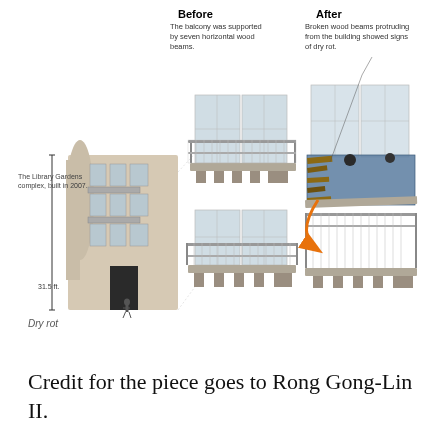[Figure (infographic): Architectural diagram showing a balcony collapse: left panel shows Library Gardens apartment building exterior built in 2007, measuring 31.5 ft tall; center panel labeled 'Before' shows intact balcony supported by seven horizontal wood beams; right panel labeled 'After' shows collapsed balcony with broken wood beams showing dry rot, with orange arrow indicating the direction of collapse. Annotations explain before and after states.]
Dry rot
Credit for the piece goes to Rong Gong-Lin II.